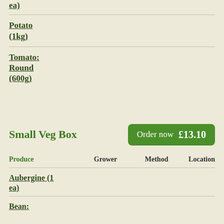ea)
Potato (1kg)
Tomato: Round (600g)
Small Veg Box
Order now  £13.10
| Produce | Grower | Method | Location |
| --- | --- | --- | --- |
| Aubergine (1 ea) |  |  |  |
| Bean: |  |  |  |
Aubergine (1 ea)
Bean: